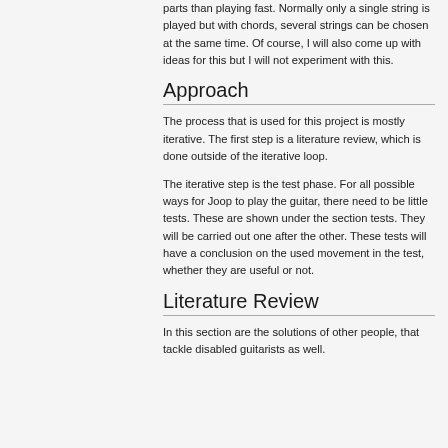parts than playing fast. Normally only a single string is played but with chords, several strings can be chosen at the same time. Of course, I will also come up with ideas for this but I will not experiment with this.
Approach
The process that is used for this project is mostly iterative. The first step is a literature review, which is done outside of the iterative loop.
The iterative step is the test phase. For all possible ways for Joop to play the guitar, there need to be little tests. These are shown under the section tests. They will be carried out one after the other. These tests will have a conclusion on the used movement in the test, whether they are useful or not.
Literature Review
In this section are the solutions of other people, that tackle disabled guitarists as well.